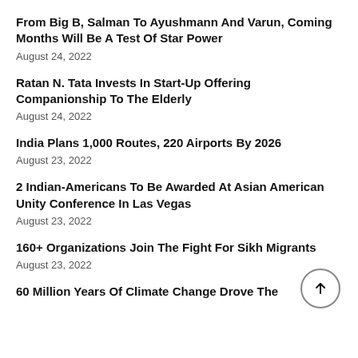From Big B, Salman To Ayushmann And Varun, Coming Months Will Be A Test Of Star Power
August 24, 2022
Ratan N. Tata Invests In Start-Up Offering Companionship To The Elderly
August 24, 2022
India Plans 1,000 Routes, 220 Airports By 2026
August 23, 2022
2 Indian-Americans To Be Awarded At Asian American Unity Conference In Las Vegas
August 23, 2022
160+ Organizations Join The Fight For Sikh Migrants
August 23, 2022
60 Million Years Of Climate Change Drove The